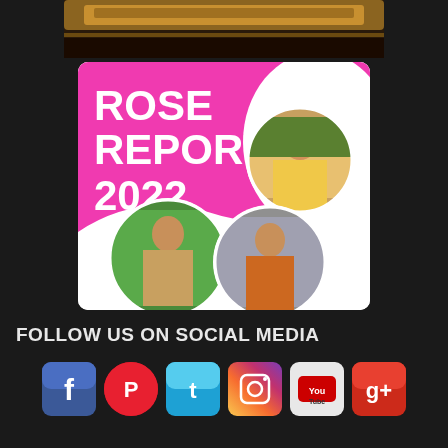[Figure (photo): Partial photo of a guitar or wooden object at the top of the page]
[Figure (infographic): Rose Report 2022 promotional banner with pink background, white text title 'ROSE REPORT 2022', subtitle 'click to download your copy', and three circular photos of a man in various outdoor settings]
FOLLOW US ON SOCIAL MEDIA
[Figure (infographic): Row of social media icons: Facebook, Pinterest, Twitter, Instagram, YouTube, Google+]